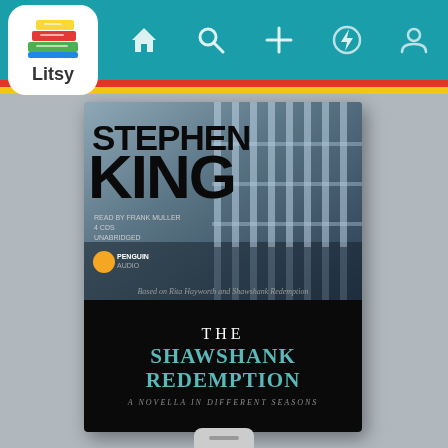[Figure (screenshot): Litsy app screenshot showing a book cover for The Shawshank Redemption by Stephen King, audiobook edition read by Frank Muller, Penguin Audio. The app has a teal navigation bar at the top with the Litsy logo (colorful book stack icon) and navigation icons for home, search, add, activity, and profile. Red and yellow stripes below the nav bar. The book cover has prison bars imagery on a blue-grey background with 'STEPHEN KING' in large black text, and a black lower section with 'THE SHAWSHANK REDEMPTION' in teal text and 'A NOVELLA IN DIFFERENT SEASONS' subtitle.]